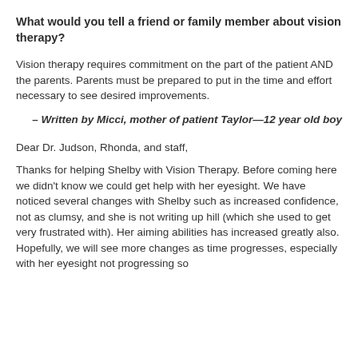What would you tell a friend or family member about vision therapy?
Vision therapy requires commitment on the part of the patient AND the parents. Parents must be prepared to put in the time and effort necessary to see desired improvements.
– Written by Micci, mother of patient Taylor—12 year old boy
Dear Dr. Judson, Rhonda, and staff,
Thanks for helping Shelby with Vision Therapy. Before coming here we didn't know we could get help with her eyesight. We have noticed several changes with Shelby such as increased confidence, not as clumsy, and she is not writing up hill (which she used to get very frustrated with). Her aiming abilities has increased greatly also. Hopefully, we will see more changes as time progresses, especially with her eyesight not progressing so